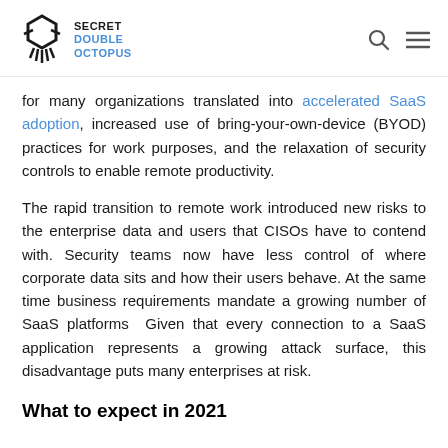SECRET DOUBLE OCTOPUS
for many organizations translated into accelerated SaaS adoption, increased use of bring-your-own-device (BYOD) practices for work purposes, and the relaxation of security controls to enable remote productivity.
The rapid transition to remote work introduced new risks to the enterprise data and users that CISOs have to contend with. Security teams now have less control of where corporate data sits and how their users behave. At the same time business requirements mandate a growing number of SaaS platforms  Given that every connection to a SaaS application represents a growing attack surface, this disadvantage puts many enterprises at risk.
What to expect in 2021